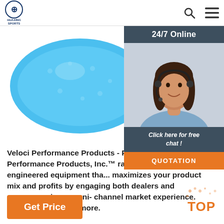HUAXING SPORTS — navigation bar with logo, search icon, and menu icon
[Figure (photo): Blue foam swim floaties / puddle jumper swim vest product on white background]
[Figure (photo): 24/7 Online customer service representative — woman with headset smiling, with dark header bar '24/7 Online', italic text 'Click here for free chat!' and orange QUOTATION button]
Veloci Performance Products - Produ... Veloci Performance Products, Inc.™ rai... with Italian-engineered equipment tha... maximizes your product mix and profits by engaging both dealers and consumers in an omni-channel market experience. Contact us to learn more.
Get Price